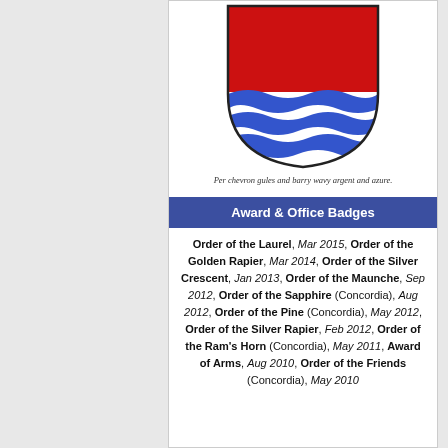[Figure (illustration): Heraldic shield: per chevron gules and barry wavy argent and azure. Upper portion red (gules), lower portion with alternating blue and white wavy horizontal bars.]
Per chevron gules and barry wavy argent and azure.
Award & Office Badges
Order of the Laurel, Mar 2015, Order of the Golden Rapier, Mar 2014, Order of the Silver Crescent, Jan 2013, Order of the Maunche, Sep 2012, Order of the Sapphire (Concordia), Aug 2012, Order of the Pine (Concordia), May 2012, Order of the Silver Rapier, Feb 2012, Order of the Ram's Horn (Concordia), May 2011, Award of Arms, Aug 2010, Order of the Friends (Concordia), May 2010